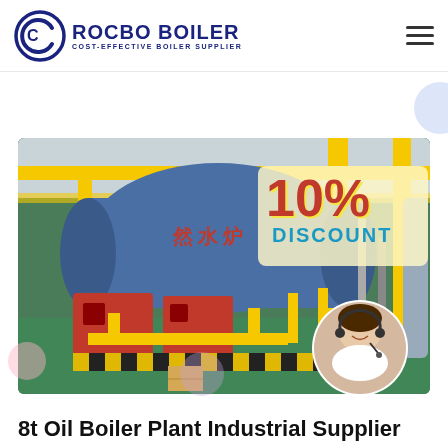ROCBO BOILER COST-EFFECTIVE BOILER SUPPLIER
[Figure (logo): Rocbo Boiler logo with circular C icon and text 'ROCBO BOILER / COST-EFFECTIVE BOILER SUPPLIER']
Get Price
[Figure (photo): Industrial boiler plant showing large blue cylindrical boilers with yellow piping and red burner units. A '10% DISCOUNT' badge overlay is shown in the top right of the image. A customer service agent (woman with headset) appears in a circular cutout at the bottom right.]
8t Oil Boiler Plant Industrial Supplier